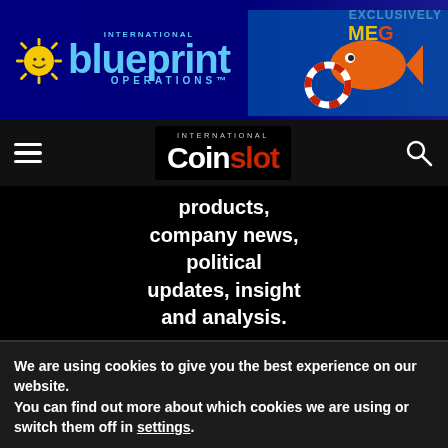[Figure (other): Blueprint Operations banner advertisement with blue background, sun mascot logo, Fishing Megaways game graphic, and 'EXCLUSIVELY' text]
[Figure (logo): International Coinslot navigation bar with hamburger menu, Coinslot logo in black/red, and search icon]
products, company news, political updates, insight and analysis.
We are using cookies to give you the best experience on our website.
You can find out more about which cookies we are using or switch them off in settings.
Accept